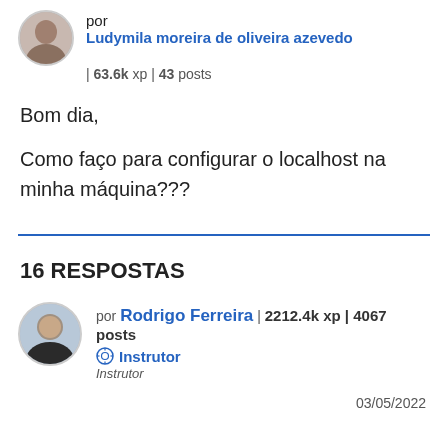por Ludymila moreira de oliveira azevedo | 63.6k xp | 43 posts
Bom dia,
Como faço para configurar o localhost na minha máquina???
16 RESPOSTAS
por Rodrigo Ferreira | 2212.4k xp | 4067 posts Instrutor Instrutor
03/05/2022